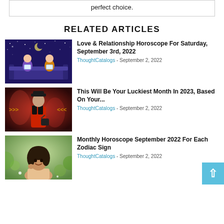perfect choice.
RELATED ARTICLES
[Figure (illustration): Illustration of two people sitting on a couch looking at phones, purple/blue starry background]
Love & Relationship Horoscope For Saturday, September 3rd, 2022
ThoughtCatalogs - September 2, 2022
[Figure (photo): Woman in red coat and black hat standing with bag, reddish smoky background]
This Will Be Your Luckiest Month In 2023, Based On Your...
ThoughtCatalogs - September 2, 2022
[Figure (photo): Young woman smiling outdoors among flowers]
Monthly Horoscope September 2022 For Each Zodiac Sign
ThoughtCatalogs - September 2, 2022